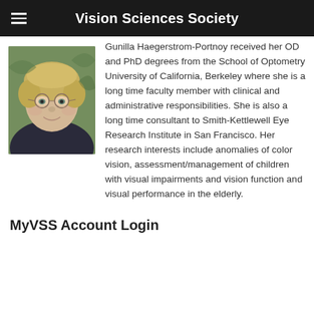Vision Sciences Society
[Figure (photo): Portrait photo of Gunilla Haegerstrom-Portnoy, a middle-aged woman with short blonde hair, glasses, smiling, wearing a dark top, with green foliage in the background.]
Gunilla Haegerstrom-Portnoy received her OD and PhD degrees from the School of Optometry University of California, Berkeley where she is a long time faculty member with clinical and administrative responsibilities. She is also a long time consultant to Smith-Kettlewell Eye Research Institute in San Francisco. Her research interests include anomalies of color vision, assessment/management of children with visual impairments and vision function and visual performance in the elderly.
MyVSS Account Login